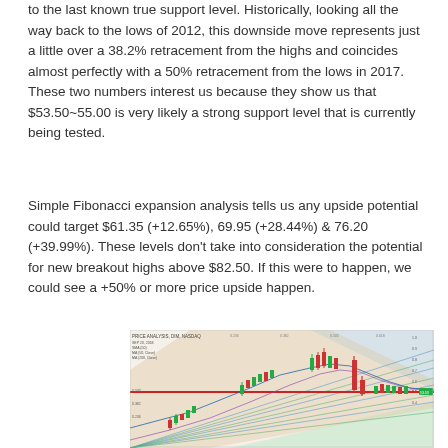to the last known true support level. Historically, looking all the way back to the lows of 2012, this downside move represents just a little over a 38.2% retracement from the highs and coincides almost perfectly with a 50% retracement from the lows in 2017. These two numbers interest us because they show us that $53.50~55.00 is very likely a strong support level that is currently being tested.
Simple Fibonacci expansion analysis tells us any upside potential could target $61.35 (+12.65%), 69.95 (+28.44%) & 76.20 (+39.99%). These levels don't take into consideration the potential for new breakout highs above $82.50. If this were to happen, we could see a +50% or more price upside happen.
[Figure (other): Stock chart showing candlestick price data with Fibonacci retracement levels, moving averages, and support/resistance lines. Chart includes colored fan lines (blue and green) emanating from lower left, a horizontal red support line, and price candlesticks showing a recent downward move. Background shading in tan, blue, and green zones.]